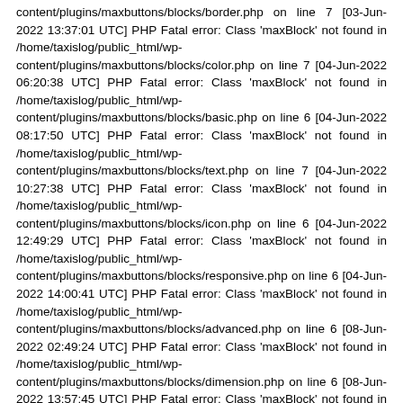content/plugins/maxbuttons/blocks/border.php on line 7 [03-Jun-2022 13:37:01 UTC] PHP Fatal error: Class 'maxBlock' not found in /home/taxislog/public_html/wp-content/plugins/maxbuttons/blocks/color.php on line 7 [04-Jun-2022 06:20:38 UTC] PHP Fatal error: Class 'maxBlock' not found in /home/taxislog/public_html/wp-content/plugins/maxbuttons/blocks/basic.php on line 6 [04-Jun-2022 08:17:50 UTC] PHP Fatal error: Class 'maxBlock' not found in /home/taxislog/public_html/wp-content/plugins/maxbuttons/blocks/text.php on line 7 [04-Jun-2022 10:27:38 UTC] PHP Fatal error: Class 'maxBlock' not found in /home/taxislog/public_html/wp-content/plugins/maxbuttons/blocks/icon.php on line 6 [04-Jun-2022 12:49:29 UTC] PHP Fatal error: Class 'maxBlock' not found in /home/taxislog/public_html/wp-content/plugins/maxbuttons/blocks/responsive.php on line 6 [04-Jun-2022 14:00:41 UTC] PHP Fatal error: Class 'maxBlock' not found in /home/taxislog/public_html/wp-content/plugins/maxbuttons/blocks/advanced.php on line 6 [08-Jun-2022 02:49:24 UTC] PHP Fatal error: Class 'maxBlock' not found in /home/taxislog/public_html/wp-content/plugins/maxbuttons/blocks/dimension.php on line 6 [08-Jun-2022 13:57:45 UTC] PHP Fatal error: Class 'maxBlock' not found in /home/taxislog/public_html/wp-content/plugins/maxbuttons/blocks/meta.php on line 6 [09-Jun-2022 09:49:52 UTC] PHP Fatal error: Class 'maxBlock' not found in /home/taxislog/public_html/wp-content/plugins/maxbuttons/blocks/text.php on line 7 [09-Jun-2022 16:29:47 UTC] PHP Fatal error: Class 'maxBlock' not found in /home/taxislog/public_html/wp-content/plugins/maxbuttons/blocks/icon.php on line